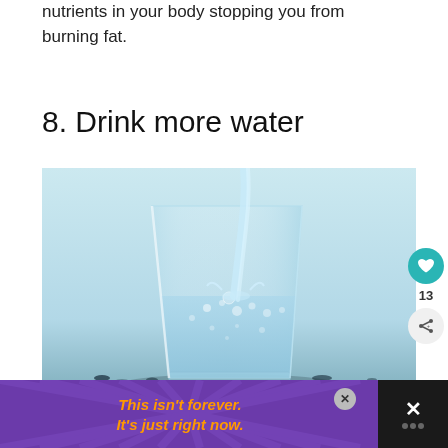nutrients in your body stopping you from burning fat.
8. Drink more water
[Figure (photo): A glass of water being filled with water poured from above, splashing inside the glass, set against a light blue background with water droplets on the surface below.]
This isn't forever. It's just right now.